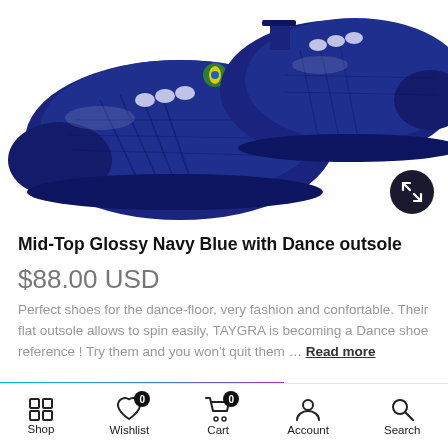[Figure (photo): Product photo of navy blue mid-top sneakers (TAYGRA brand) shown from above-front angle, pair of shoes with glossy navy blue finish and green Brazilian flag logo, white background]
Mid-Top Glossy Navy Blue with Dance outsole
$88.00 USD
Perfect shoes for the dance-floor, very fashion and confortable. Their flat outsole allows to spin easily, TAYGRA is becoming a Dance shoe reference ! Try them and you won't quit them … Read more
Important Shipping Info
Shop   Wishlist 0   Cart 0   Account   Search